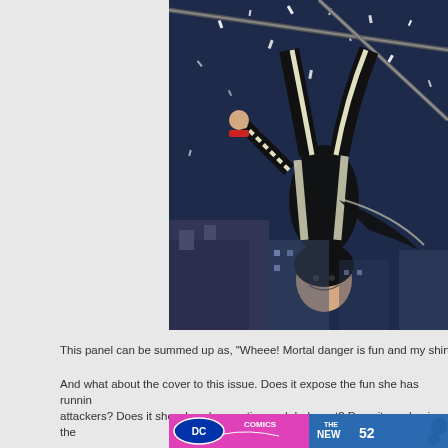[Figure (illustration): Comic book panel showing a female character in black costume swinging upside down on a rope against a night city rooftop background with feathers/debris flying]
This panel can be summed up as, "Wheee!  Mortal danger is fun and my shirt is ju
And what about the cover to this issue.  Does it expose the fun she has runnin attackers?  Does it show her desperation and dark past?  Does it emphasize the
[Figure (screenshot): Bottom portion of a DC Comics The New 52 banner/advertisement]